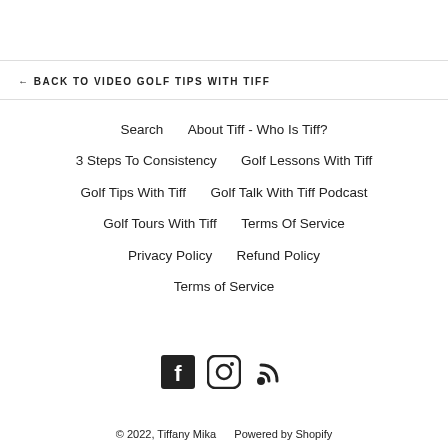← BACK TO VIDEO GOLF TIPS WITH TIFF
Search
About Tiff - Who Is Tiff?
3 Steps To Consistency
Golf Lessons With Tiff
Golf Tips With Tiff
Golf Talk With Tiff Podcast
Golf Tours With Tiff
Terms Of Service
Privacy Policy
Refund Policy
Terms of Service
[Figure (other): Social media icons: Facebook, Instagram, RSS feed]
© 2022, Tiffany Mika     Powered by Shopify